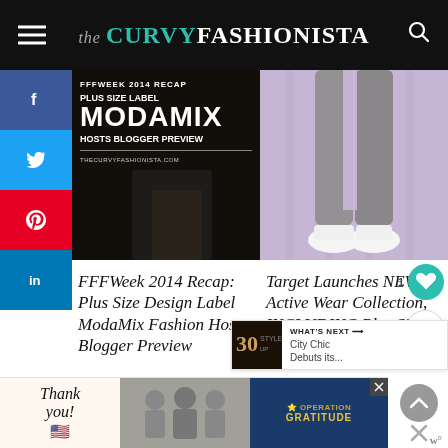the CURVY FASHIONISTA
[Figure (photo): Black and white background image with text overlay: FFFWEEK 2014 RECAP, PLUS SIZE LABEL, MODAMIX, HOSTS BLOGGER PREVIEW, THECURVYFASHIONISTA.COM]
[Figure (photo): Plus size model in gray speckled leggings and white sneakers on a purple/lavender background, lower body only visible]
FFFWeek 2014 Recap: Plus Size Design Label ModaMix Fashion Hosts Blogger Preview
Target Launches NEW Active Wear Collection, INCLUDING Plus Sizes with A Motion
[Figure (photo): Advertisement banner: Thank you with flag, healthcare workers, Operation Gratitude logo]